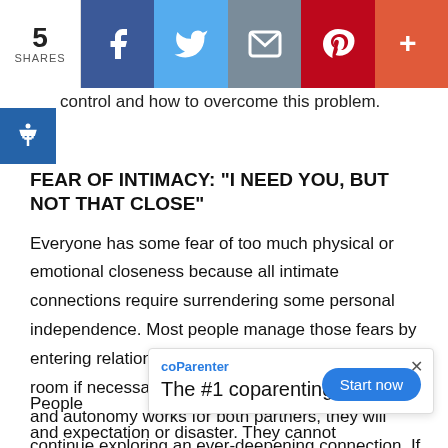5 SHARES | Facebook | Twitter | Email | Pinterest | More
control and how to overcome this problem.
FEAR OF INTIMACY: “I NEED YOU, BUT NOT THAT CLOSE”
Everyone has some fear of too much physical or emotional closeness because all intimate connections require surrendering some personal independence. Most people manage those fears by entering relationships gradually and leaving the exit room if necessary. If the balance between closeness and autonomy works for both partners, they will continue exploring an ever-deepening connection. If they cannot sustain that mutual comfort, they will eventually drift apart.
[Figure (other): coParenter app advertisement banner with 'Start now' button]
People between desire and expectation or disaster. They cannot